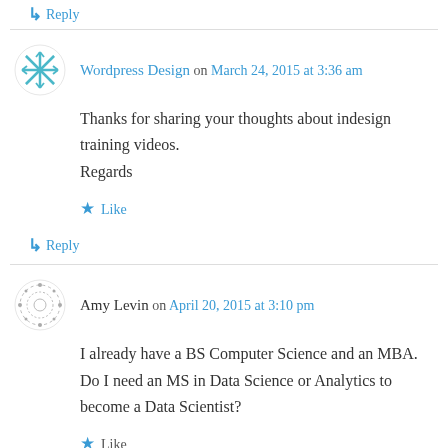↳ Reply
Wordpress Design on March 24, 2015 at 3:36 am
Thanks for sharing your thoughts about indesign training videos.
Regards
★ Like
↳ Reply
Amy Levin on April 20, 2015 at 3:10 pm
I already have a BS Computer Science and an MBA. Do I need an MS in Data Science or Analytics to become a Data Scientist?
★ Like